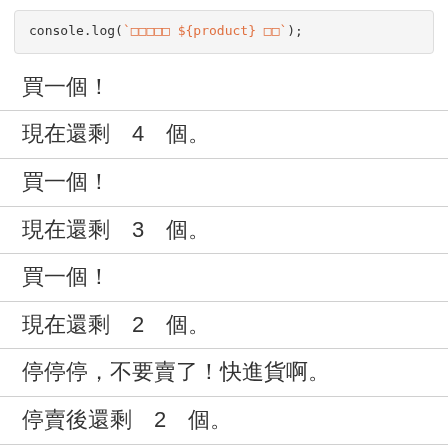console.log(`□□□□□ ${product} □□`);
買一個！
現在還剩　4　個。
買一個！
現在還剩　3　個。
買一個！
現在還剩　2　個。
停停停，不要賣了！快進貨啊。
停賣後還剩　2　個。
continue